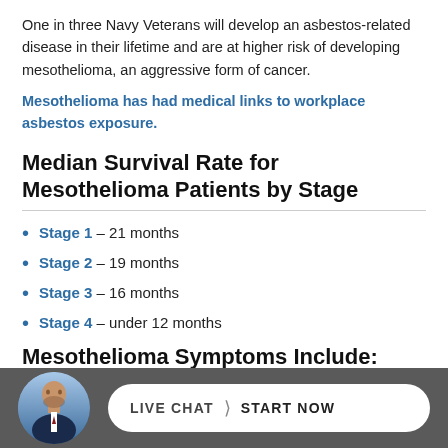One in three Navy Veterans will develop an asbestos-related disease in their lifetime and are at higher risk of developing mesothelioma, an aggressive form of cancer.
Mesothelioma has had medical links to workplace asbestos exposure.
Median Survival Rate for Mesothelioma Patients by Stage
Stage 1 – 21 months
Stage 2 – 19 months
Stage 3 – 16 months
Stage 4 – under 12 months
Mesothelioma Symptoms Include:
[Figure (photo): Live chat button with avatar of a bald man in a suit on a dark grey bar at the bottom of the page. Button reads LIVE CHAT > START NOW]